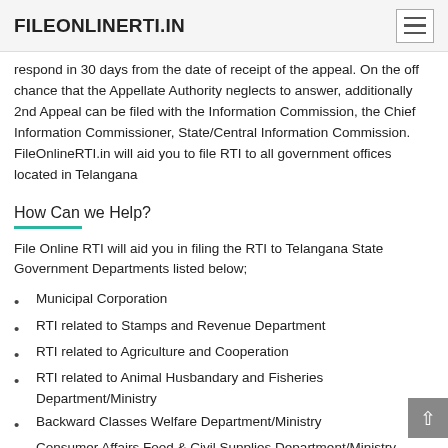FILEONLINERTI.IN
respond in 30 days from the date of receipt of the appeal. On the off chance that the Appellate Authority neglects to answer, additionally 2nd Appeal can be filed with the Information Commission, the Chief Information Commissioner, State/Central Information Commission. FileOnlineRTI.in will aid you to file RTI to all government offices located in Telangana
How Can we Help?
File Online RTI will aid you in filing the RTI to Telangana State Government Departments listed below;
Municipal Corporation
RTI related to Stamps and Revenue Department
RTI related to Agriculture and Cooperation
RTI related to Animal Husbandary and Fisheries Department/Ministry
Backward Classes Welfare Department/Ministry
Consumer Affairs Food & Civil Supplies Department/Ministry